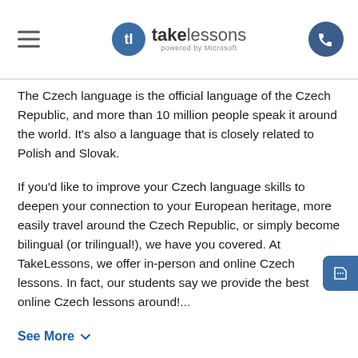takelessons powered by Microsoft
The Czech language is the official language of the Czech Republic, and more than 10 million people speak it around the world. It's also a language that is closely related to Polish and Slovak.
If you'd like to improve your Czech language skills to deepen your connection to your European heritage, more easily travel around the Czech Republic, or simply become bilingual (or trilingual!), we have you covered. At TakeLessons, we offer in-person and online Czech lessons. In fact, our students say we provide the best online Czech lessons around!...
See More